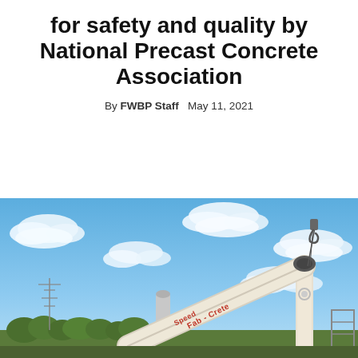for safety and quality by National Precast Concrete Association
By FWBP Staff   May 11, 2021
[Figure (photo): A large white crane boom with 'Speed Fab-Crete' lettering extends diagonally against a bright blue sky with scattered white clouds. Trees and industrial structures are visible at the base.]